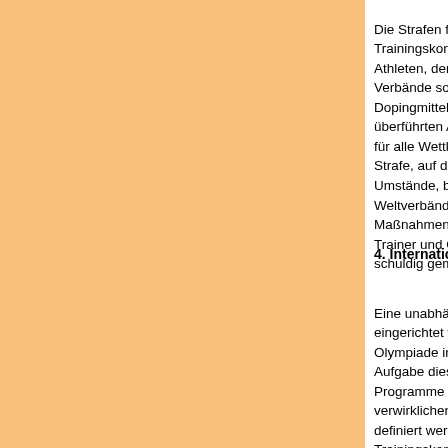Die Strafen für Dopingvergehen gelten nach W… Trainingskontrollen. In Übereinstimmung mit de… Athleten, der NOK und einer großen Mehrheit d… Verbände soll die Mindeststrafe für die der Ein… Dopingmittel oder die der Anwendung verboten… überführten Athleten beim ersten Verstoß eine … für alle Wettkämpfe betragen. Allerdings kann d… Strafe, auf der Grundlage spezifischer, außerge… Umstände, bestimmt von der ersten Instanz de… Weltverbände, modifiziert werden. Zusätzliche … Maßnahmen können verhängt werden. Strenge… Trainer und Offizielle gelten, die sich einer Ver… schuldig gemacht haben.
4. Internationale Antidoping-Agentur
Eine unabhängige internationale Antidoping-Age… eingerichtet werden, daß sie bis zu den Spiele… Olympiade in Sydney im Jahr 2000 arbeitsfähig… Aufgabe dieser Einrichtung soll es sein, die ve… Programme zu koordinieren, die nötig sind, um… verwirklichen, die gemeinsam von allen beteili… definiert werden. Zu diesen Programmen solle… Trainingskontrollen, Koordinierung der Forsch… Unterstützung vorbeugender und erzieherische… Harmonisierung der wissenschaftlichen und te… und Methoden für Analyse und Ausrüstung geh…